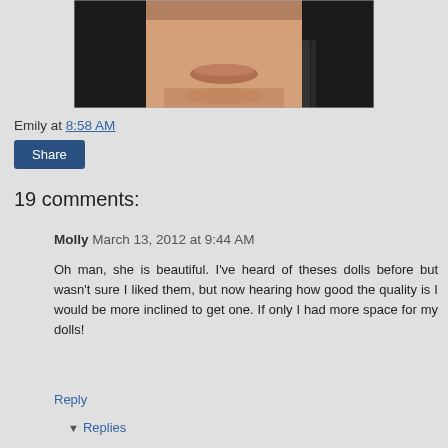[Figure (photo): Close-up photo of a doll face with dark hair, Asian features, and neutral lips, cropped to show lower face and neck]
Emily at 8:58 AM
Share
19 comments:
Molly  March 13, 2012 at 9:44 AM
Oh man, she is beautiful. I've heard of theses dolls before but wasn't sure I liked them, but now hearing how good the quality is I would be more inclined to get one. If only I had more space for my dolls!
Reply
Replies